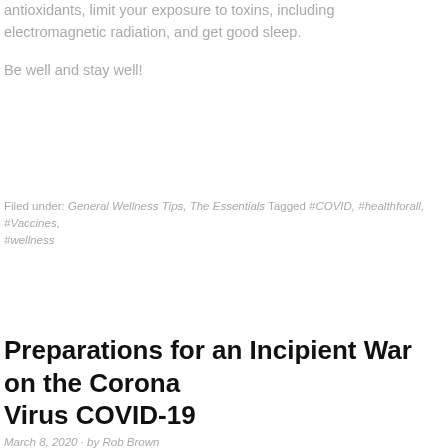antioxidants, limit your exposure to toxins, including electromagnetic radiation, and get good sleep.
Be well and stay well!
Filed under: General Wellness Tips, The Essentials Tagged #COVID, #healthforall, #Vaccines, #wellness
Preparations for an Incipient War on the Corona Virus COVID-19
March 8, 2020 · by Rob Brown